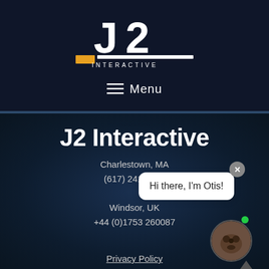[Figure (logo): J2 Interactive logo — large white stylized 'J2' text with a horizontal line and 'INTERACTIVE' subtitle, with a yellow/gold small rectangle accent on the left]
≡ Menu
J2 Interactive
Charlestown, MA
(617) 241 7266

Windsor, UK
+44 (0)1753 260087
Hi there, I'm Otis!
Privacy Policy